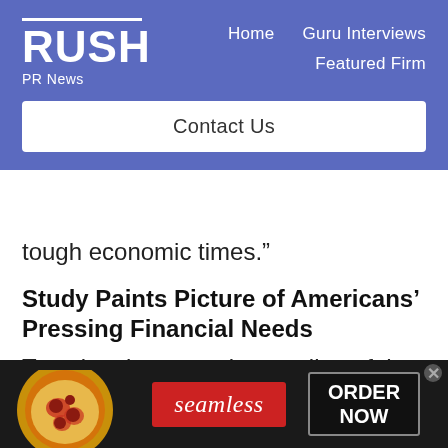RUSH PR News | Home | Guru Interviews | Featured Firm | Contact Us
tough economic times.”
Study Paints Picture of Americans’ Pressing Financial Needs
To gain a better understanding of the money management challenges many families face today, Walmart commissioned Aite
[Figure (photo): Seamless food delivery advertisement banner showing pizza image on left, red Seamless logo in center, and ORDER NOW button on right against dark background]